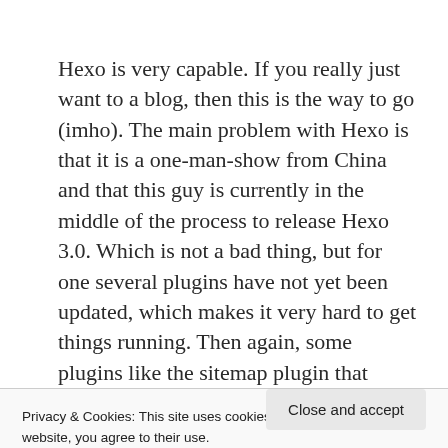Hexo is very capable. If you really just want to a blog, then this is the way to go (imho). The main problem with Hexo is that it is a one-man-show from China and that this guy is currently in the middle of the process to release Hexo 3.0. Which is not a bad thing, but for one several plugins have not yet been updated, which makes it very hard to get things running. Then again, some plugins like the sitemap plugin that
Privacy & Cookies: This site uses cookies. By continuing to use this website, you agree to their use.
To find out more, including how to control cookies, see here: Cookie Policy
got around configuring my WebStorm